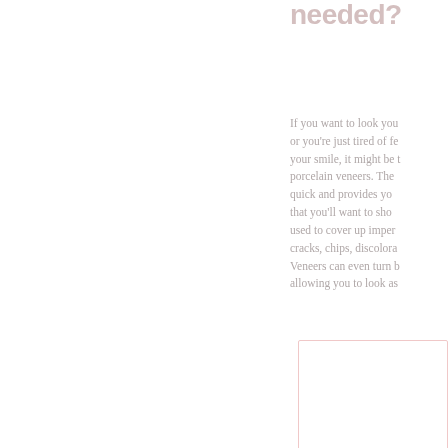needed?
If you want to look you or you're just tired of fe your smile, it might be t porcelain veneers. The quick and provides yo that you'll want to sho used to cover up imper cracks, chips, discolora Veneers can even turn b allowing you to look as
[Figure (other): A bordered empty rectangular box outline, likely a placeholder for an image]